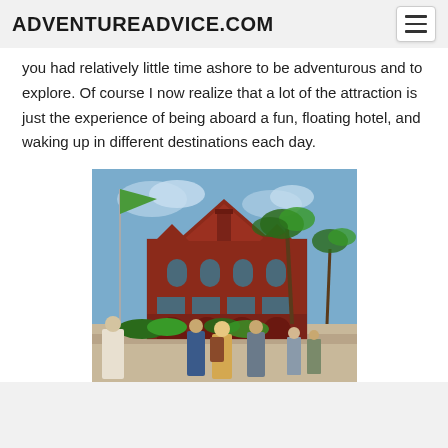ADVENTUREADVICE.COM
you had relatively little time ashore to be adventurous and to explore. Of course I now realize that a lot of the attraction is just the experience of being aboard a fun, floating hotel, and waking up in different destinations each day.
[Figure (photo): Photo of a red brick historic building (likely Key West Custom House) with palm trees, a flag pole with a green flag, tourists in the foreground, and a blue sky.]